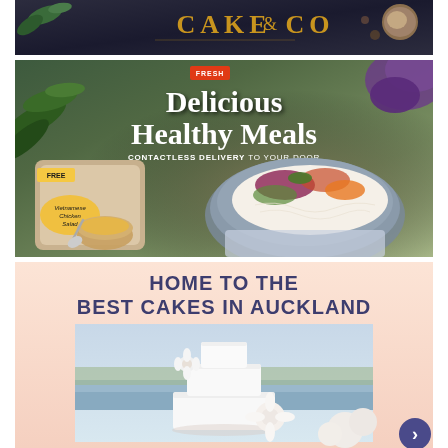[Figure (photo): Top advertisement showing 'CAKE & CO' logo text in gold on dark background with food items]
[Figure (photo): Middle advertisement for Fresh brand showing 'Delicious Healthy Meals' with Vietnamese Chicken Salad product packaging and a bowl of noodle salad. Text reads 'CONTACTLESS DELIVERY TO YOUR DOOR']
[Figure (photo): Bottom advertisement with pink background reading 'HOME TO THE BEST CAKES IN AUCKLAND' showing a white tiered cake with flowers, and a circular arrow button]